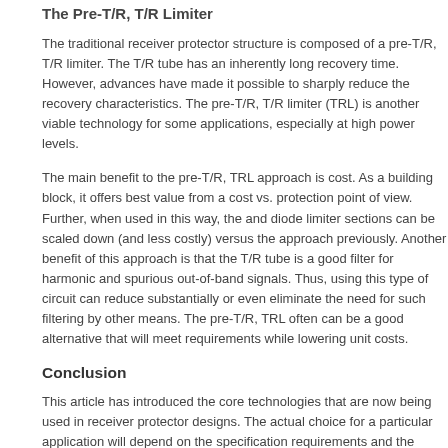The Pre-T/R, T/R Limiter
The traditional receiver protector structure is composed of a pre-T/R, T/R limiter. The T/R tube has an inherently long recovery time. However, advances have made it possible to sharply reduce the recovery characteristics. The pre-T/R, T/R limiter (TRL) is another viable technology for some applications, especially at high power levels.
The main benefit to the pre-T/R, TRL approach is cost. As a building block, it offers best value from a cost vs. protection point of view. Further, when used in this way, the and diode limiter sections can be scaled down (and less costly) versus the approach previously. Another benefit of this approach is that the T/R tube is a good filter for harmonic and spurious out-of-band signals. Thus, using this type of circuit can reduce substantially or even eliminate the need for such filtering by other means. The pre-T/R, TRL often can be a good alternative that will meet requirements while lowering unit costs.
Conclusion
This article has introduced the core technologies that are now being used in receiver protector designs. The actual choice for a particular application will depend on the specification requirements and the design trade-offs involved. The general trends are to eliminate radioactive priming, increase operating life and lower co